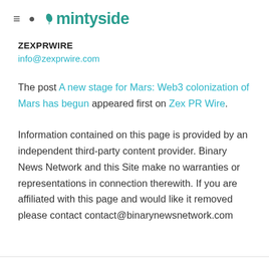≡ 🔍 mintyside
ZEXPRWIRE
info@zexprwire.com
The post A new stage for Mars: Web3 colonization of Mars has begun appeared first on Zex PR Wire.
Information contained on this page is provided by an independent third-party content provider. Binary News Network and this Site make no warranties or representations in connection therewith. If you are affiliated with this page and would like it removed please contact contact@binarynewsnetwork.com